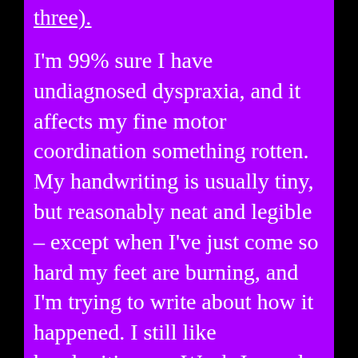three).
I'm 99% sure I have undiagnosed dyspraxia, and it affects my fine motor coordination something rotten. My handwriting is usually tiny, but reasonably neat and legible – except when I've just come so hard my feet are burning, and I'm trying to write about how it happened. I still like handwriting my Wank Journal entries, because the sensory aspect of writing with a pen is grounding for me, and my inability to backspace my gibberish makes for a more accurate reflection of my post–wank thoughts and feelings, but I might